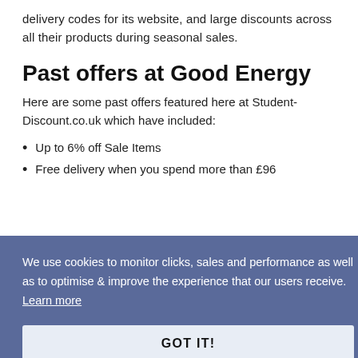delivery codes for its website, and large discounts across all their products during seasonal sales.
Past offers at Good Energy
Here are some past offers featured here at Student-Discount.co.uk which have included:
Up to 6% off Sale Items
Free delivery when you spend more than £96
We use cookies to monitor clicks, sales and performance as well as to optimise & improve the experience that our users receive. Learn more
GOT IT!
ore!
Try these other websites for a Good Energy voucher or